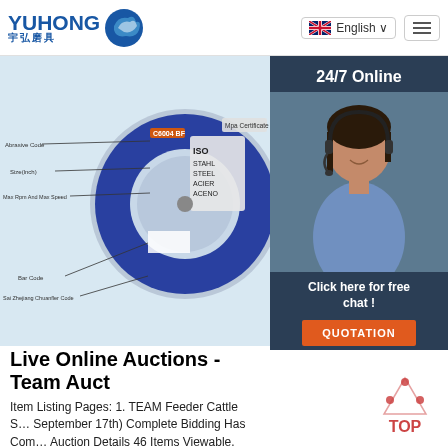[Figure (logo): Yuhong logo with blue wave icon and Chinese characters 宇弘磨具]
English ∨
[Figure (screenshot): Product image of an abrasive cutting disc with diagram labels: Abrasive Code, Size(Inch), Max Rpm And Max Speed, Bar Code, Sai Zhejiang Chuanfler Code, and ISO/MPA certification marks]
[Figure (photo): Customer service representative with headset, 24/7 Online panel, Click here for free chat!, QUOTATION button]
Live Online Auctions - Team Auct
Item Listing Pages: 1. TEAM Feeder Cattle S… September 17th) Complete Bidding Has Com… Auction Details 46 Items Viewable. TEAM Au… Calgary, Alberta, Canada. 2021 Sep 17 @ 09… Local Time (UTC-6 : CST/MDT) 2021 …
Get Price
[Figure (other): TOP navigation button with triangle/dots icon]